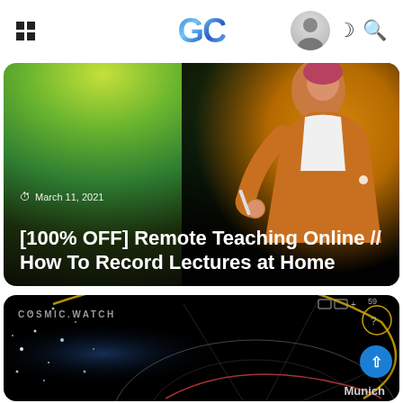GC (logo with navigation: grid menu, avatar, crescent/dark-mode icon, search icon)
[Figure (photo): Article card with illustrated teacher figure giving a presentation, green and yellow background gradient. Date: March 11, 2021. Title: [100% OFF] Remote Teaching Online // How To Record Lectures at Home]
March 11, 2021 — [100% OFF] Remote Teaching Online // How To Record Lectures at Home
[Figure (screenshot): Cosmic Watch app screenshot showing a circular star chart/orrery on a dark space background, with label 'COSMIC.WATCH' and 'Munich' at bottom right, includes UI controls in top right corner. A blue FAB scroll-up button is overlaid.]